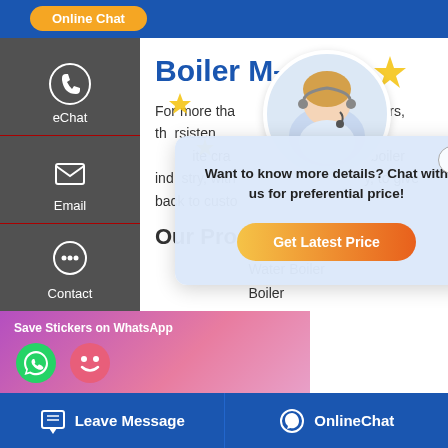[Figure (screenshot): Website screenshot showing a boiler manufacturer page with chat popup overlay, sidebar navigation, and bottom action bar]
Boiler M...
For more tha... oilers, the rsisten... it of eChatite cra... boiler industry, with y, to give back to custo...
Our Products
...Water Boiler
...Boiler
[Figure (screenshot): Chat popup: Want to know more details? Chat with us for preferential price! with Get Latest Price button and customer service avatar]
[Figure (screenshot): WhatsApp sticker save bar at bottom left]
Leave Message    OnlineChat